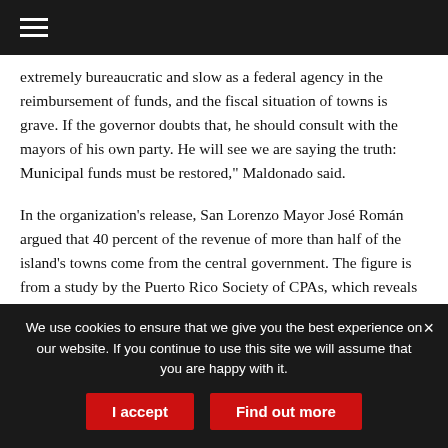extremely bureaucratic and slow as a federal agency in the reimbursement of funds, and the fiscal situation of towns is grave. If the governor doubts that, he should consult with the mayors of his own party. He will see we are saying the truth: Municipal funds must be restored," Maldonado said.
In the organization's release, San Lorenzo Mayor José Román argued that 40 percent of the revenue of more than half of the island's towns come from the central government. The figure is from a study by the Puerto Rico Society of CPAs, which reveals the precariousness of
We use cookies to ensure that we give you the best experience on our website. If you continue to use this site we will assume that you are happy with it.
I accept
Find out more